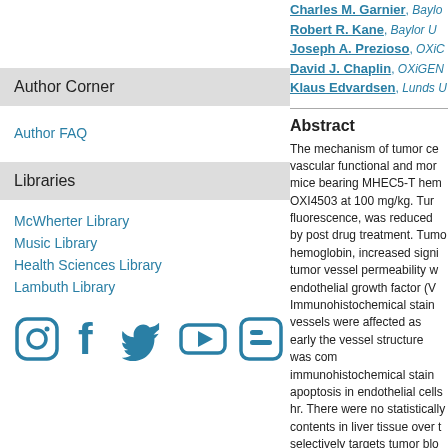Author Corner
Author FAQ
Libraries
McWherter Library
Music Library
Health Sciences Library
Lambuth Library
[Figure (illustration): Social media icons: Instagram, Facebook, Twitter, YouTube, Blogger]
Charles M. Garnier, Baylor U
Robert R. Kane, Baylor U
Joseph A. Prezioso, OXiG
David J. Chaplin, OXiGEN
Klaus Edvardsen, Lunds U
Abstract
The mechanism of tumor ce vascular functional and mor mice bearing MHEC5-T hem OXI4503 at 100 mg/kg. Tu fluorescence, was reduced b post drug treatment. Tumo hemoglobin, increased signi tumor vessel permeability w endothelial growth factor (V Immunohistochemical stain vessels were affected as earl the vessel structure was com immunohistochemical stain apoptosis in endothelial cell hr. There were no statistically contents in liver tissue over t selectively targets tumor blo enhances tumor blood vesse